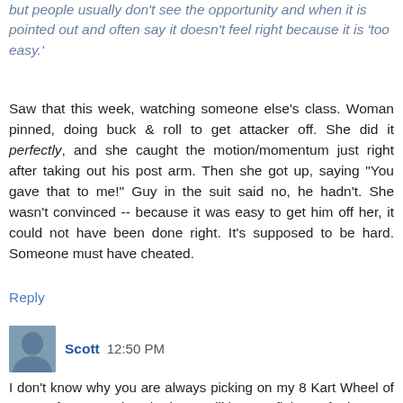but people usually don't see the opportunity and when it is pointed out and often say it doesn't feel right because it is 'too easy.'
Saw that this week, watching someone else's class. Woman pinned, doing buck & roll to get attacker off. She did it perfectly, and she caught the motion/momentum just right after taking out his post arm. Then she got up, saying "You gave that to me!" Guy in the suit said no, he hadn't. She wasn't convinced -- because it was easy to get him off her, it could not have been done right. It's supposed to be hard. Someone must have cheated.
Reply
Scott 12:50 PM
I don't know why you are always picking on my 8 Kart Wheel of Doom. If you want it so bad, you will have to fight me for it.
The expression "it is just math" is losing it's punch. Math problems often have numerous creative kicks. that on a continuum, approach proof.